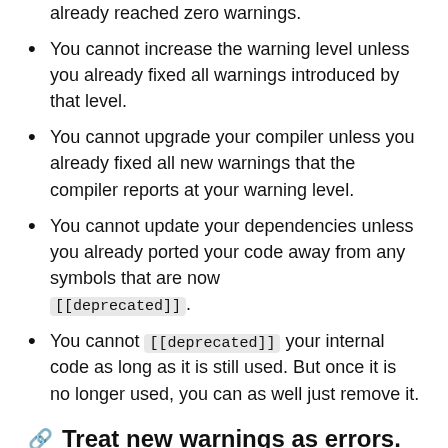already reached zero warnings.
You cannot increase the warning level unless you already fixed all warnings introduced by that level.
You cannot upgrade your compiler unless you already fixed all new warnings that the compiler reports at your warning level.
You cannot update your dependencies unless you already ported your code away from any symbols that are now [[deprecated]].
You cannot [[deprecated]] your internal code as long as it is still used. But once it is no longer used, you can as well just remove it.
Treat new warnings as errors.
At the beginning of each development cycle...